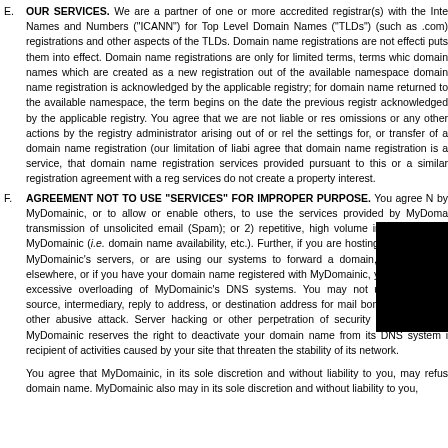E. OUR SERVICES. We are a partner of one or more accredited registrar(s) with the Internet Corporation for Assigned Names and Numbers ("ICANN") for Top Level Domain Names ("TLDs") (such as .com) that oversees registrations and other aspects of the TLDs. Domain name registrations are not effective until the applicable registry puts them into effect. Domain name registrations are only for limited terms, terms which vary between domain names which are created as a new registration out of the available namespace, the term for a new domain name registration is acknowledged by the applicable registry; for domain names which are returned to the available namespace, the term begins on the date the previous registration was acknowledged by the applicable registry. You agree that we are not liable or responsible for any actions or omissions or any other actions by the registry administrator arising out of or related to the registration of, the settings for, or transfer of a domain name registration (our limitation of liability). You further agree that domain name registration is a service, that domain name registration and any other services provided pursuant to this or a similar registration agreement with a registry or registrar's services do not create a property interest.
F. AGREEMENT NOT TO USE "SERVICES" FOR IMPROPER PURPOSE. You agree NOT to use services provided by MyDomainic, or to allow or enable others, to use the services provided by MyDomainic for the transmission of unsolicited email (Spam); or 2) repetitive, high volume inquires into any services offered by MyDomainic (i.e. domain name availability, etc.). Further, if you are hosting your domain name on MyDomainic's servers, or are using our systems to forward a domain, URL, or other information elsewhere, or if you have your domain name registered with MyDomainic, you are responsible for ensuring no excessive overloading of MyDomainic's DNS systems. You may not use MyDomainic's network as a source, intermediary, reply to address, or destination address for mail bombs, Internet packet flooding, or other abusive attack. Server hacking or other perpetration of security breaches is prohibited. MyDomainic reserves the right to deactivate your domain name from its DNS system if it is the recipient of activities caused by your site that threaten the stability of its network.
You agree that MyDomainic, in its sole discretion and without liability to you, may refuse to register a domain name. MyDomainic also may in its sole discretion and without liability to you,